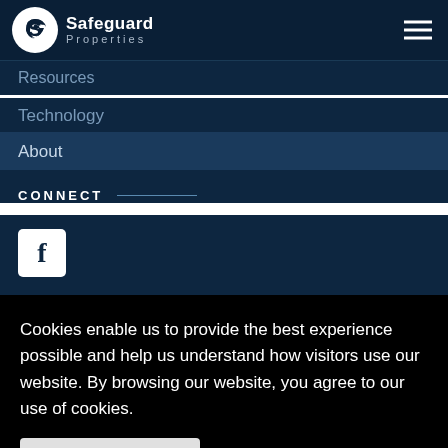Safeguard Properties
Resources
Technology
About
CONNECT
[Figure (logo): Facebook icon - white F on dark background in white square]
Cookies enable us to provide the best experience possible and help us understand how visitors use our website. By browsing our website, you agree to our use of cookies.
Accept